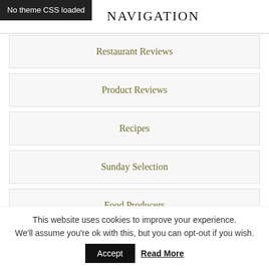No theme CSS loaded
NAVIGATION
Restaurant Reviews
Product Reviews
Recipes
Sunday Selection
Food Producers
This website uses cookies to improve your experience. We'll assume you're ok with this, but you can opt-out if you wish.
Accept Read More